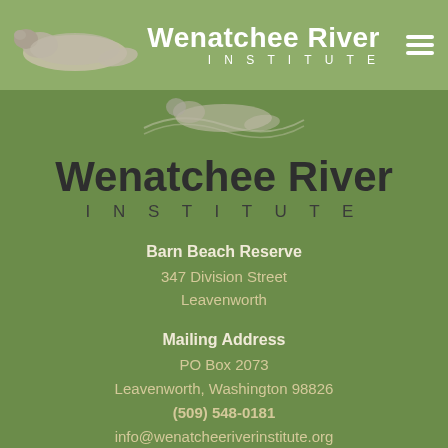[Figure (logo): Wenatchee River Institute header with otter logo, institute name, and hamburger menu on light green background]
[Figure (logo): Wenatchee River Institute main logo section with otter silhouette and large institute name on dark green background]
Barn Beach Reserve
347 Division Street
Leavenworth
Mailing Address
PO Box 2073
Leavenworth, Washington 98826
(509) 548-0181
info@wenatcheeriverinstitute.org